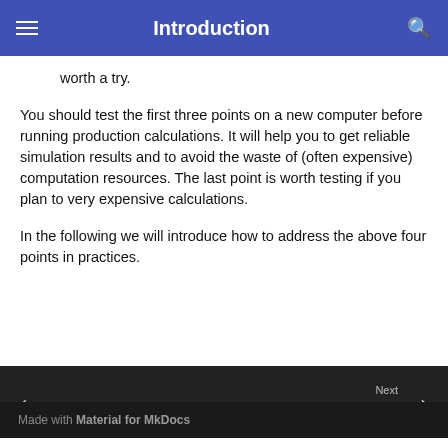Introduction
worth a try.
You should test the first three points on a new computer before running production calculations. It will help you to get reliable simulation results and to avoid the waste of (often expensive) computation resources. The last point is worth testing if you plan to very expensive calculations.
In the following we will introduce how to address the above four points in practices.
Next
Part 1: Preparing the Computer Envir…
Made with Material for MkDocs